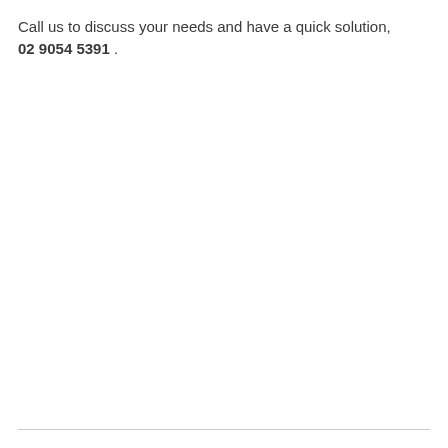Call us to discuss your needs and have a quick solution, 02 9054 5391 .